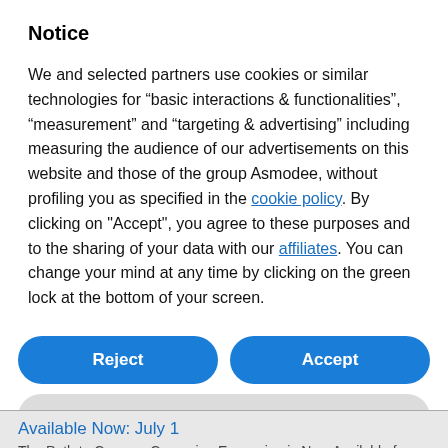Notice
We and selected partners use cookies or similar technologies for “basic interactions & functionalities”, “measurement” and “targeting & advertising” including measuring the audience of our advertisements on this website and those of the group Asmodee, without profiling you as specified in the cookie policy. By clicking on "Accept", you agree to these purposes and to the sharing of your data with our affiliates. You can change your mind at any time by clicking on the green lock at the bottom of your screen.
[Figure (other): Reject and Accept buttons (blue pill-shaped), and Learn more and customize button (gray pill-shaped)]
Available Now: July 1
The Path to Carcosa Campaign Expansion is Now Available for